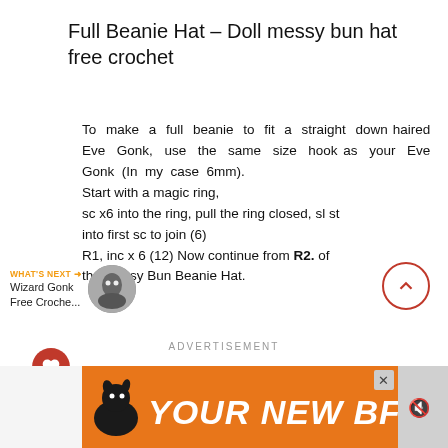Full Beanie Hat – Doll messy bun hat free crochet
To make a full beanie to fit a straight down haired Eve Gonk, use the same size hook as your Eve Gonk (In my case 6mm). Start with a magic ring, sc x6 into the ring, pull the ring closed, sl st into first sc to join (6) R1, inc x 6 (12) Now continue from R2. of the Messy Bun Beanie Hat.
ADVERTISEMENT
[Figure (photo): Orange advertisement banner with dog silhouette and text YOUR NEW BFF]